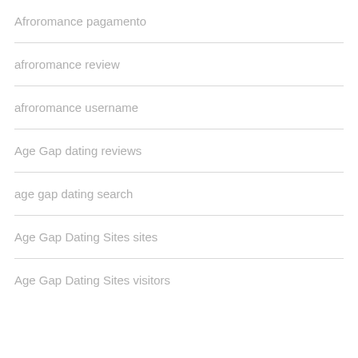Afroromance pagamento
afroromance review
afroromance username
Age Gap dating reviews
age gap dating search
Age Gap Dating Sites sites
Age Gap Dating Sites visitors